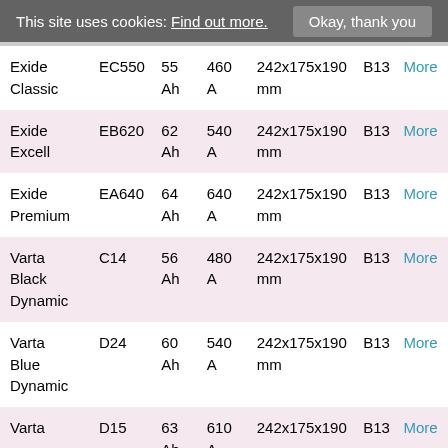This site uses cookies: Find out more. Okay, thank you
| Name | Model | Ah | A | Dimensions | Group |  |
| --- | --- | --- | --- | --- | --- | --- |
| Exide Classic | EC550 | 55 Ah | 460 A | 242x175x190 mm | B13 | More |
| Exide Excell | EB620 | 62 Ah | 540 A | 242x175x190 mm | B13 | More |
| Exide Premium | EA640 | 64 Ah | 640 A | 242x175x190 mm | B13 | More |
| Varta Black Dynamic | C14 | 56 Ah | 480 A | 242x175x190 mm | B13 | More |
| Varta Blue Dynamic | D24 | 60 Ah | 540 A | 242x175x190 mm | B13 | More |
| Varta | D15 | 63 Ah | 610 A | 242x175x190 | B13 | More |